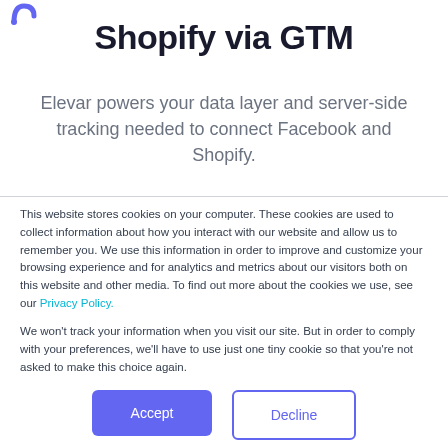Shopify via GTM
Elevar powers your data layer and server-side tracking needed to connect Facebook and Shopify.
This website stores cookies on your computer. These cookies are used to collect information about how you interact with our website and allow us to remember you. We use this information in order to improve and customize your browsing experience and for analytics and metrics about our visitors both on this website and other media. To find out more about the cookies we use, see our Privacy Policy.
We won't track your information when you visit our site. But in order to comply with your preferences, we'll have to use just one tiny cookie so that you're not asked to make this choice again.